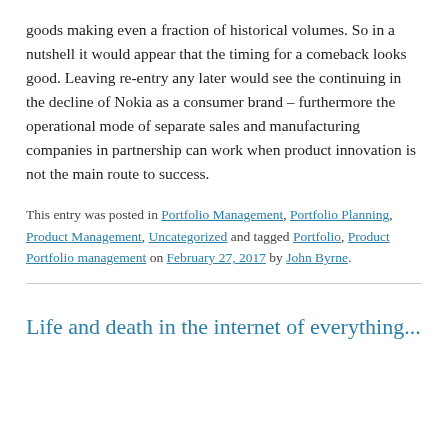goods making even a fraction of historical volumes. So in a nutshell it would appear that the timing for a comeback looks good. Leaving re-entry any later would see the continuing in the decline of Nokia as a consumer brand – furthermore the operational mode of separate sales and manufacturing companies in partnership can work when product innovation is not the main route to success.
This entry was posted in Portfolio Management, Portfolio Planning, Product Management, Uncategorized and tagged Portfolio, Product Portfolio management on February 27, 2017 by John Byrne.
Life and death in the internet of everything...